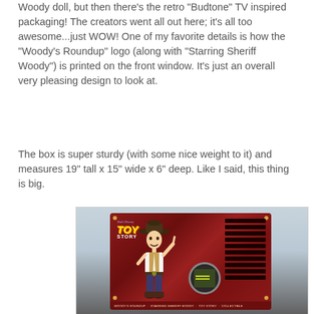Woody doll, but then there's the retro "Budtone" TV inspired packaging! The creators went all out here; it's all too awesome...just WOW! One of my favorite details is how the "Woody's Roundup" logo (along with "Starring Sheriff Woody") is printed on the front window. It's just an overall very pleasing design to look at.
The box is super sturdy (with some nice weight to it) and measures 19" tall x 15" wide x 6" deep. Like I said, this thing is big.
[Figure (photo): Back panel of a Toy Story retro TV-inspired box featuring a Sheriff Woody figure on a dark red woodgrain background. The panel shows the Toy Story logo in the upper left, ventilation slats on the right side, a circular dial/screen element, and an info strip at the bottom.]